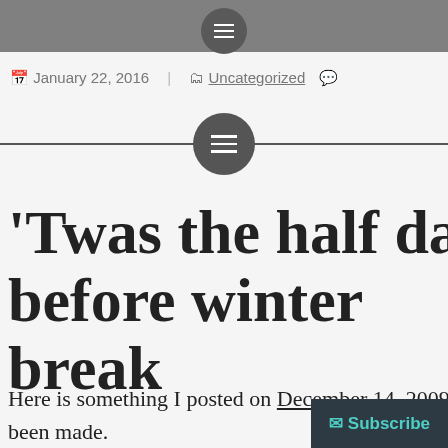Menu navigation bar
January 22, 2016   Uncategorized
[Figure (other): Circular hamburger menu icon on a horizontal divider line]
'Twas the half day before winter break
Here is something I posted on December 14, 2009 been made.